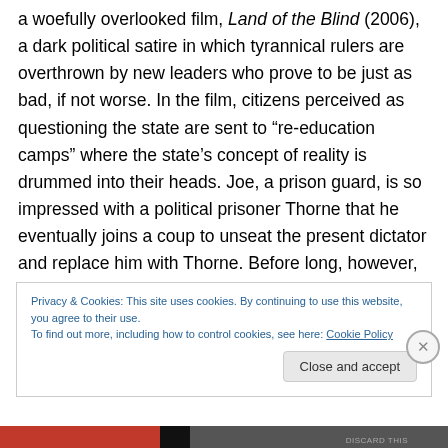a woefully overlooked film, Land of the Blind (2006), a dark political satire in which tyrannical rulers are overthrown by new leaders who prove to be just as bad, if not worse. In the film, citizens perceived as questioning the state are sent to “re-education camps” where the state’s concept of reality is drummed into their heads. Joe, a prison guard, is so impressed with a political prisoner Thorne that he eventually joins a coup to unseat the present dictator and replace him with Thorne. Before long, however, Joe becomes the target of the new government and comes to realize that the old boss is the same as the
Privacy & Cookies: This site uses cookies. By continuing to use this website, you agree to their use.
To find out more, including how to control cookies, see here: Cookie Policy
Close and accept